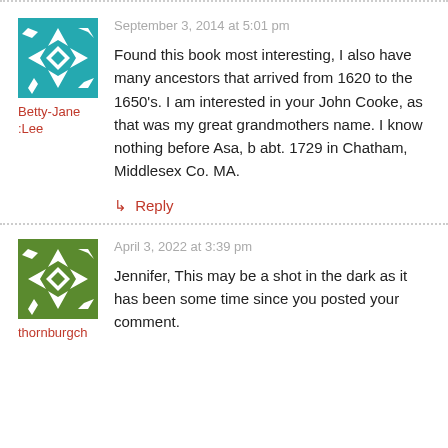[Figure (illustration): Teal/cyan geometric quilt-pattern avatar for Betty-Jane Lee]
Betty-Jane :Lee
September 3, 2014 at 5:01 pm
Found this book most interesting, I also have many ancestors that arrived from 1620 to the 1650's. I am interested in your John Cooke, as that was my great grandmothers name. I know nothing before Asa, b abt. 1729 in Chatham, Middlesex Co. MA.
↳ Reply
[Figure (illustration): Green geometric quilt-pattern avatar for thornburgch]
thornburgch
April 3, 2022 at 3:39 pm
Jennifer, This may be a shot in the dark as it has been some time since you posted your comment.